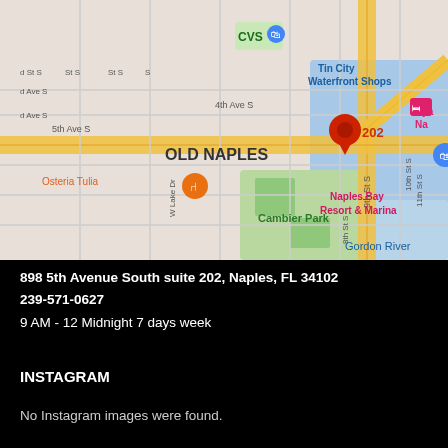[Figure (map): Google Maps view of Old Naples, FL showing location at 898 5th Avenue South suite 202. Map shows streets including 5th Ave S, 4th Ave S, 9th St S, 10th St S, 11th St S, W Lake Dr, 8th St S. Notable landmarks: CVS, Osteria Tulia, Cambier Park, Tin City Waterfront Shops, Naples Bay Resort & Marina, Gordon River, Hyatt Naples. A red location pin with '202' label is visible near center.]
898 5th Avenue South suite 202, Naples, FL 34102
239-571-0627
9 AM - 12 Midnight 7 days week
INSTAGRAM
No Instagram images were found.